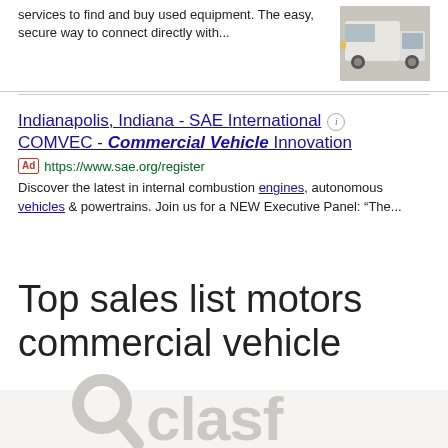services to find and buy used equipment. The easy, secure way to connect directly with...
[Figure (photo): Photo of a white commercial truck/semi cab]
Indianapolis, Indiana - SAE International COMVEC - Commercial Vehicle Innovation
Ad https://www.sae.org/register
Discover the latest in internal combustion engines, autonomous vehicles & powertrains. Join us for a NEW Executive Panel: "The...
Top sales list motors commercial vehicle
[Figure (logo): Oclasf logo with search magnifying glass icon in light gray]